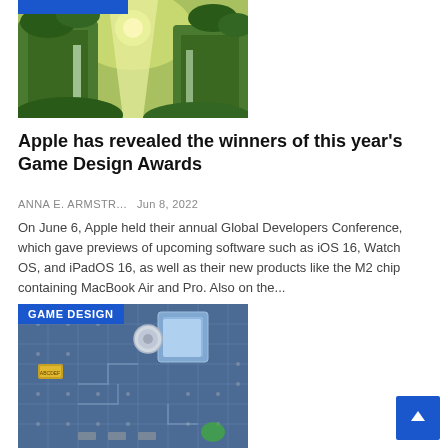[Figure (illustration): Illustration of a fantasy jungle/forest landscape with green tones, light beam, waterfalls and lush vegetation. Has a blue badge/bar at top.]
Apple has revealed the winners of this year's Game Design Awards
ANNA E. ARMSTR...   Jun 8, 2022
On June 6, Apple held their annual Global Developers Conference, which gave previews of upcoming software such as iOS 16, Watch OS, and iPadOS 16, as well as their new products like the M2 chip containing MacBook Air and Pro. Also on the...
[Figure (photo): Close-up photo of a blue computer circuit board/motherboard with components. Has a blue 'GAME DESIGN' badge overlaid on top left.]
[Figure (other): Blue scroll-to-top button with white upward arrow, bottom right corner.]